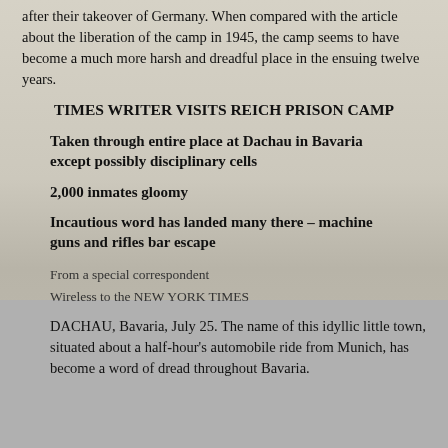after their takeover of Germany. When compared with the article about the liberation of the camp in 1945, the camp seems to have become a much more harsh and dreadful place in the ensuing twelve years.
TIMES WRITER VISITS REICH PRISON CAMP
Taken through entire place at Dachau in Bavaria except possibly disciplinary cells
2,000 inmates gloomy
Incautious word has landed many there – machine guns and rifles bar escape
From a special correspondent
Wireless to the NEW YORK TIMES
DACHAU, Bavaria, July 25. The name of this idyllic little town, situated about a half-hour's automobile ride from Munich, has become a word of dread throughout Bavaria.